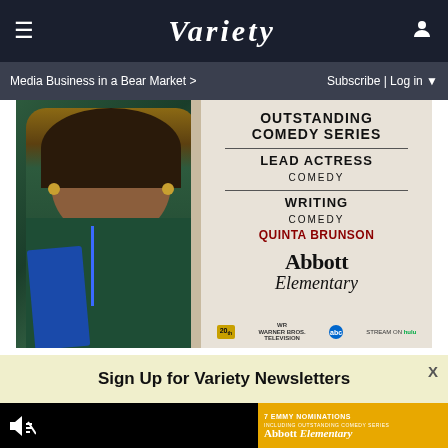Variety
Media Business in a Bear Market > | Subscribe | Log in
[Figure (photo): Abbott Elementary Emmy nomination advertisement showing Quinta Brunson in green turtleneck with text: Outstanding Comedy Series, Lead Actress Comedy, Writing Comedy Quinta Brunson, Abbott Elementary. Logos for 20th Television, Warner Bros. Television, ABC, Hulu.]
Sign Up for Variety Newsletters
[Figure (photo): Video player area (black) with speaker/mute icon on left, and Abbott Elementary gold Emmy nominations ad on right: 7 Emmy Nominations including Outstanding Comedy Series, Abbott Elementary logo, studio logos.]